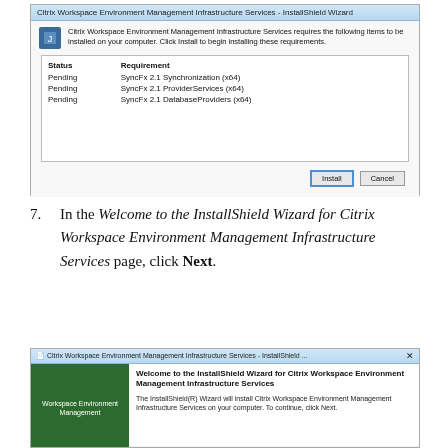[Figure (screenshot): InstallShield Wizard dialog for Citrix Workspace Environment Management Infrastructure Services showing requirements: SyncFx 2.1 Synchronization (x64), SyncFx 2.1 ProviderServices (x64), SyncFx 2.1 DatabaseProviders (x64) — all Pending. Install and Cancel buttons at bottom.]
7. In the Welcome to the InstallShield Wizard for Citrix Workspace Environment Management Infrastructure Services page, click Next.
[Figure (screenshot): InstallShield Wizard welcome screen for Citrix Workspace Environment Management Infrastructure Services with green sidebar and welcome text on the right.]